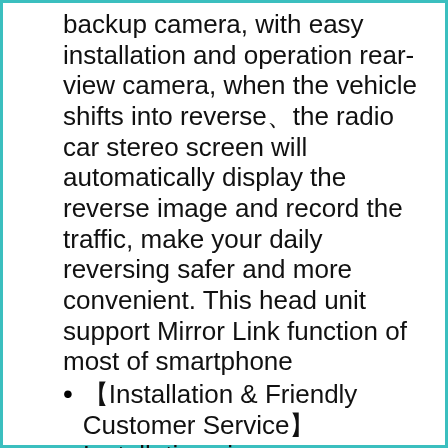backup camera, with easy installation and operation rear-view camera, when the vehicle shifts into reverse、the radio car stereo screen will automatically display the reverse image and record the traffic, make your daily reversing safer and more convenient. This head unit support Mirror Link function of most of smartphone
【Installation & Friendly Customer Service】 Installation size: 178*100*55mm, this fits in vehicle that has a double din slot in the dash, some cars may need wiring kit and the mounting kit for perfect fit. Rimoody have professional technical team and great customer